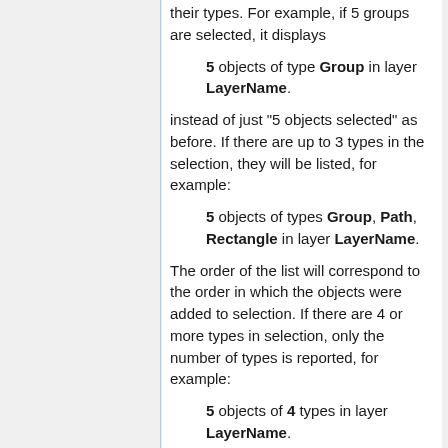their types. For example, if 5 groups are selected, it displays
5 objects of type Group in layer LayerName.
instead of just "5 objects selected" as before. If there are up to 3 types in the selection, they will be listed, for example:
5 objects of types Group, Path, Rectangle in layer LayerName.
The order of the list will correspond to the order in which the objects were added to selection. If there are 4 or more types in selection, only the number of types is reported, for example:
5 objects of 4 types in layer LayerName.